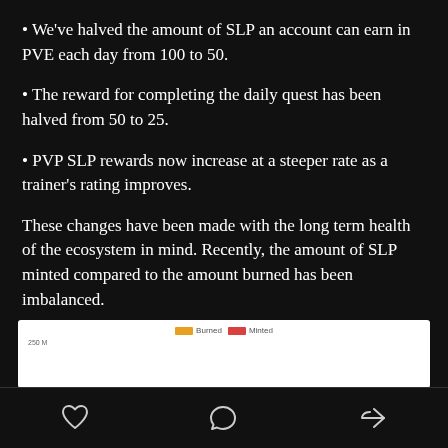We've halved the amount of SLP an account can earn in PVE each day from 100 to 50.
The reward for completing the daily quest has been halved from 50 to 25.
PVP SLP rewards now increase at a steeper rate as a trainer's rating improves.
These changes have been made with the long term health of the ecosystem in mind. Recently, the amount of SLP minted compared to the amount burned has been imbalanced.
[Figure (bar-chart): Partial bar chart showing Burned vs Minted SLP, with a legend showing orange for Burned and red for Minted. Y-axis label shows 250M visible.]